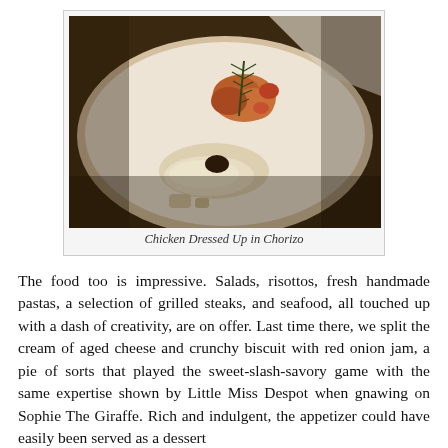[Figure (photo): A plated dish showing chicken pieces garnished with a rosemary sprig and chorizo on a white plate, with a creamy mashed or pureed side dish topped with a dark element.]
Chicken Dressed Up in Chorizo
The food too is impressive. Salads, risottos, fresh handmade pastas, a selection of grilled steaks, and seafood, all touched up with a dash of creativity, are on offer. Last time there, we split the cream of aged cheese and crunchy biscuit with red onion jam, a pie of sorts that played the sweet-slash-savory game with the same expertise shown by Little Miss Despot when gnawing on Sophie The Giraffe. Rich and indulgent, the appetizer could have easily been served as a dessert